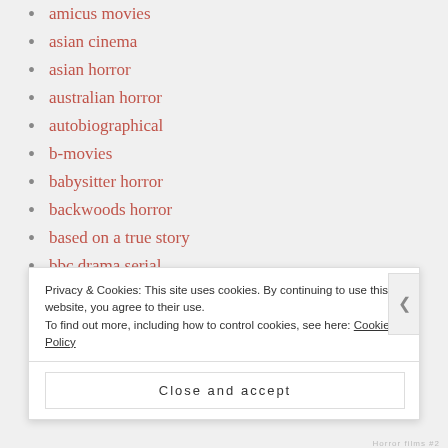amicus movies
asian cinema
asian horror
australian horror
autobiographical
b-movies
babysitter horror
backwoods horror
based on a true story
bbc drama serial
biblical epic
Privacy & Cookies: This site uses cookies. By continuing to use this website, you agree to their use. To find out more, including how to control cookies, see here: Cookie Policy
Close and accept
Horror films #2